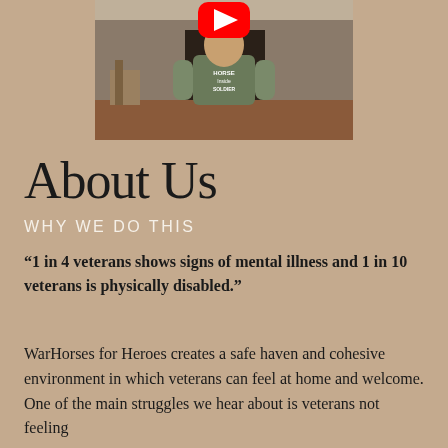[Figure (photo): A person wearing a green military-style t-shirt with 'Horse Inside Soldier' text stands in front of a barn or warehouse. A YouTube play button overlay is visible at the top center of the image.]
About Us
WHY WE DO THIS
“1 in 4 veterans shows signs of mental illness and 1 in 10 veterans is physically disabled.”
WarHorses for Heroes creates a safe haven and cohesive environment in which veterans can feel at home and welcome. One of the main struggles we hear about is veterans not feeling